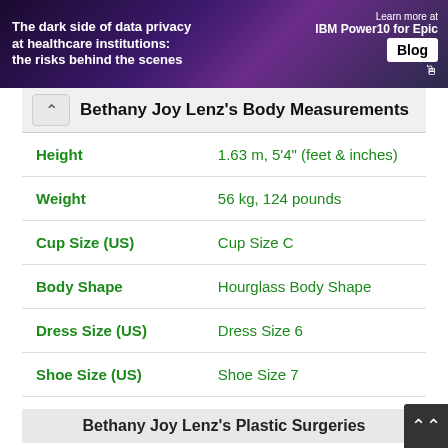[Figure (screenshot): Banner advertisement: 'The dark side of data privacy at healthcare institutions: the risks behind the scenes' with IBM Power10 for Epic Blog promotion]
Bethany Joy Lenz's Body Measurements
| Attribute | Value |
| --- | --- |
| Height | 1.63 m, 5'4" (feet & inches) |
| Weight | 56 kg, 124 pounds |
| Cup Size (US) | Cup Size C |
| Body Shape | Hourglass Body Shape |
| Dress Size (US) | Dress Size 6 |
| Shoe Size (US) | Shoe Size 7 |
Bethany Joy Lenz's Plastic Surgeries
| Procedure | Result |
| --- | --- |
| Nose Job (Rhinoplasty) | N/A |